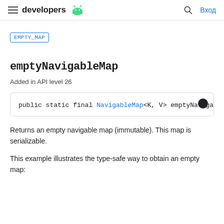developers | Вход
EMPTY_MAP
emptyNavigableMap
Added in API level 26
public static final NavigableMap<K, V> emptyNavigabl
Returns an empty navigable map (immutable). This map is serializable.
This example illustrates the type-safe way to obtain an empty map: